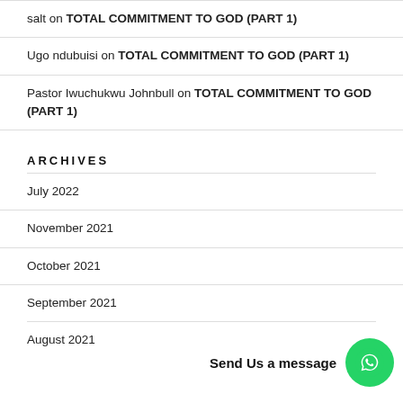salt on TOTAL COMMITMENT TO GOD (PART 1)
Ugo ndubuisi on TOTAL COMMITMENT TO GOD (PART 1)
Pastor Iwuchukwu Johnbull on TOTAL COMMITMENT TO GOD (PART 1)
ARCHIVES
July 2022
November 2021
October 2021
September 2021
August 2021
Send Us a message